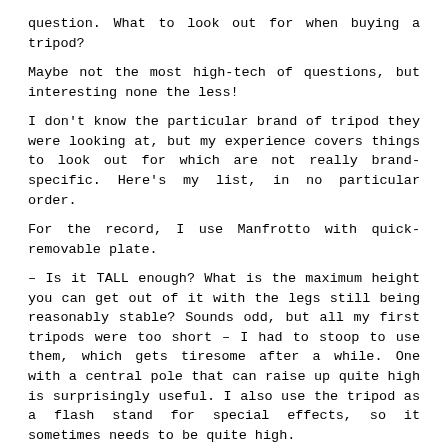question. What to look out for when buying a tripod?
Maybe not the most high-tech of questions, but interesting none the less!
I don't know the particular brand of tripod they were looking at, but my experience covers things to look out for which are not really brand-specific. Here's my list, in no particular order.
For the record, I use Manfrotto with quick-removable plate.
– Is it TALL enough? What is the maximum height you can get out of it with the legs still being reasonably stable? Sounds odd, but all my first tripods were too short – I had to stoop to use them, which gets tiresome after a while. One with a central pole that can raise up quite high is surprisingly useful. I also use the tripod as a flash stand for special effects, so it sometimes needs to be quite high.
– Rigidity/stiffness. THE most important. Mine is aluminium tubing and is really very rigid. I have seen some good quality carbon fibre ones of comparable stiffness, but also some cheaper ones which flex far too easily. Definitely a false economy.